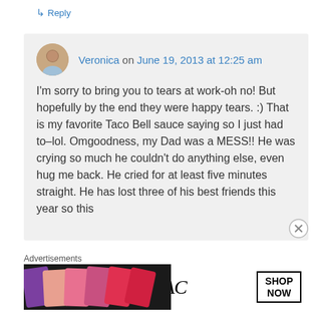↳ Reply
Veronica on June 19, 2013 at 12:25 am
I'm sorry to bring you to tears at work-oh no! But hopefully by the end they were happy tears. :) That is my favorite Taco Bell sauce saying so I just had to–lol. Omgoodness, my Dad was a MESS!! He was crying so much he couldn't do anything else, even hug me back. He cried for at least five minutes straight. He has lost three of his best friends this year so this
Advertisements
[Figure (photo): MAC cosmetics advertisement showing lipsticks with MAC logo and SHOP NOW button]